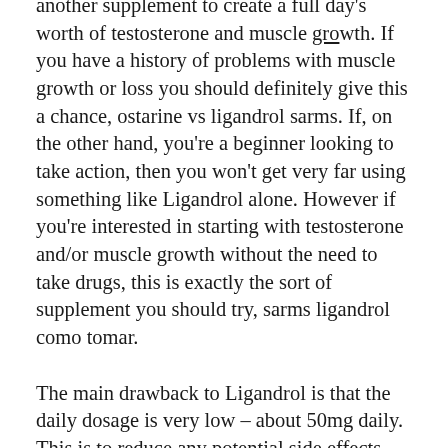another supplement to create a full day's worth of testosterone and muscle growth. If you have a history of problems with muscle growth or loss you should definitely give this a chance, ostarine vs ligandrol sarms. If, on the other hand, you're a beginner looking to take action, then you won't get very far using something like Ligandrol alone. However if you're interested in starting with testosterone and/or muscle growth without the need to take drugs, this is exactly the sort of supplement you should try, sarms ligandrol como tomar.
The main drawback to Ligandrol is that the daily dosage is very low – about 50mg daily. This is to reduce any potential side effects associated with the side effects of the other steroid pills. Also of note is that Ligandrol is not a good ergogenic aid as the dose is too low, sarms ligandrol resultados. The daily dose will not give you the same kind of